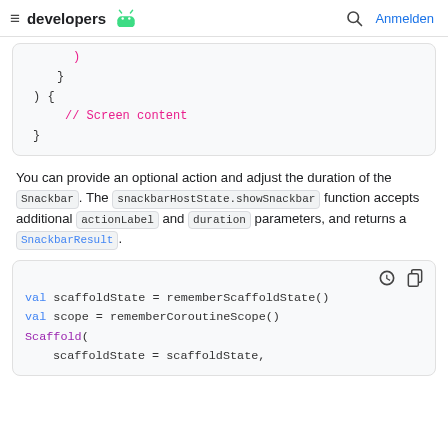≡ developers 🤖   🔍 Anmelden
[Figure (screenshot): Code block showing closing braces and // Screen content comment]
You can provide an optional action and adjust the duration of the Snackbar. The snackbarHostState.showSnackbar function accepts additional actionLabel and duration parameters, and returns a SnackbarResult.
[Figure (screenshot): Code block showing val scaffoldState = rememberScaffoldState(), val scope = rememberCoroutineScope(), Scaffold(, scaffoldState = scaffoldState,]